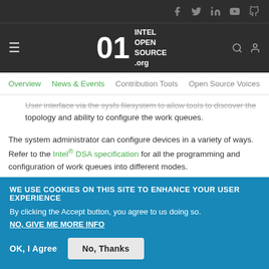01 INTEL OPEN SOURCE .org — social icons and hamburger menu
Overview | News & Events | Contribution Tools | Open Source Voices
User interface via the sysfs filesystem to allow tools to discover the topology and ability to configure the work queues.
The system administrator can configure devices in a variety of ways. Refer to the Intel® DSA specification for all the programming and configuration of work queues into different modes.
ACCELERATOR CONFIGURATOR (ACCEL-
WE USE COOKIES ON THIS SITE TO ENHANCE YOUR USER EXPERIENCE
By clicking the Accept button, you agree to us doing so.
NO, GIVE ME MORE INFO
OK, I AGREE
NO, THANKS